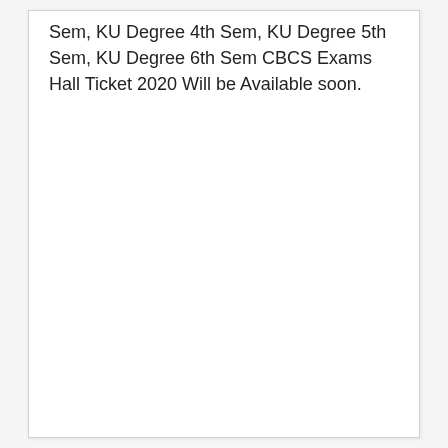Sem, KU Degree 4th Sem, KU Degree 5th Sem, KU Degree 6th Sem CBCS Exams Hall Ticket 2020 Will be Available soon.